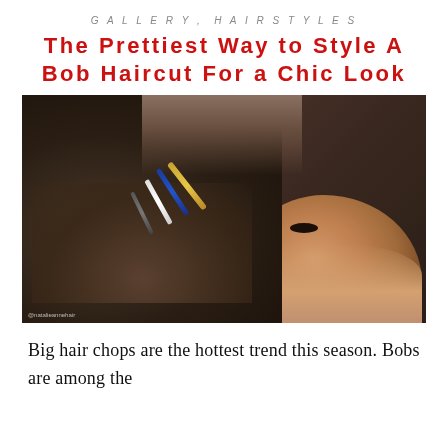GALLERY, HAIRSTYLES
The Prettiest Way to Style A Bob Haircut For a Chic Look
[Figure (photo): Side profile of a woman with dark wavy bob haircut styled with multiple decorative hair clips (gold, blue, white, and dark) pinned along the side part. Watermark reads @natalieannehair.]
Big hair chops are the hottest trend this season. Bobs are among the